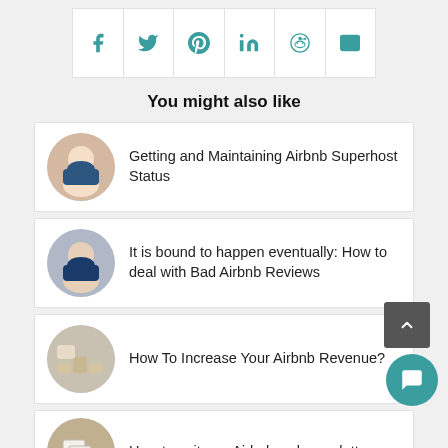[Figure (other): Social share bar with icons: Facebook, Twitter, Pinterest, LinkedIn, Reddit, Email]
You might also like
[Figure (other): Article card with circular thumbnail of woman smiling, title: Getting and Maintaining Airbnb Superhost Status]
[Figure (other): Article card with circular thumbnail of man looking stressed, title: It is bound to happen eventually: How to deal with Bad Airbnb Reviews]
[Figure (other): Article card with circular thumbnail of room/couch, title: How To Increase Your Airbnb Revenue?]
[Figure (other): Article card with circular thumbnail of envelopes/letters, title: How to write an Airbnb welcome letter (partially visible)]